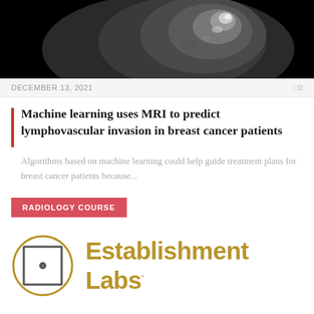[Figure (photo): MRI scan image of breast tissue, black background with grayscale tissue detail and bright highlights at top]
DECEMBER 13, 2021   0
Machine learning uses MRI to predict lymphovascular invasion in breast cancer patients
Algorithms based on machine learning could help guide treatment plans for breast cancer patients because...
RADIOLOGY COURSE
[Figure (logo): Establishment Labs logo: circular gold ring with square icon containing a dot, beside gold text reading Establishment Labs with registered trademark symbol]